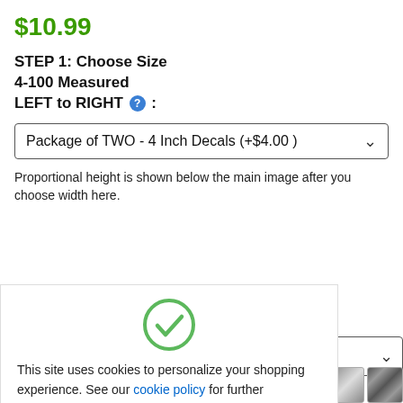$10.99
STEP 1: Choose Size 4-100 Measured LEFT to RIGHT :
Package of TWO - 4 Inch Decals (+$4.00)
Proportional height is shown below the main image after you choose width here.
This site uses cookies to personalize your shopping experience. See our cookie policy for further information on how this information is used.
Got It!
in the image that is NOT NOT part of the decal.